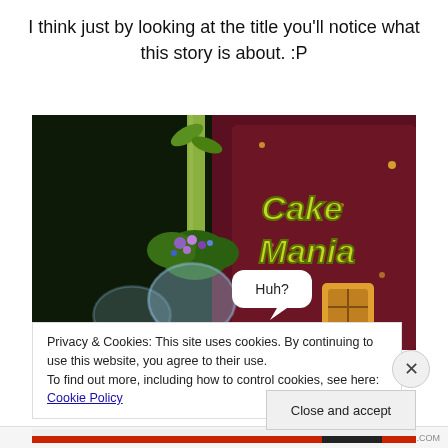I think just by looking at the title you'll notice what this story is about. :P
[Figure (screenshot): Screenshot of a video game scene showing a character with a speech bubble saying 'Huh?' with 'Cake Mania' logo visible on the right side against a fantasy background with plants and flowers.]
Privacy & Cookies: This site uses cookies. By continuing to use this website, you agree to their use.
To find out more, including how to control cookies, see here: Cookie Policy
Close and accept